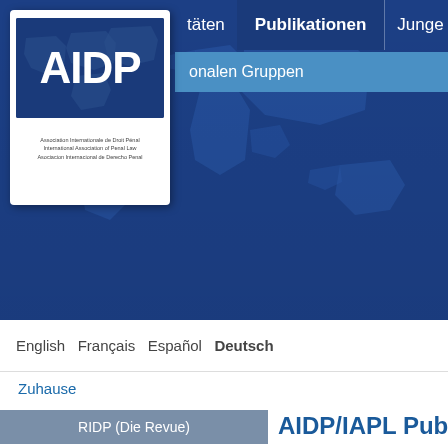[Figure (screenshot): AIDP website screenshot showing navigation with Publikationen active, AIDP logo card, world map background, language switcher with Deutsch selected, search bar, Zuhause breadcrumb, sidebar with RIDP section, and AIDP/IAPL Publi... title]
taten   Publikationen   Junge Strafrecht...
onalen Gruppen
[Figure (logo): AIDP logo with letters on blue world map background. Subtitle: Association Internationale de Droit Pénal, International Association of Penal Law, Asociacion Internacional de Derecho Penal]
English Français Español Deutsch
Zuhause
RIDP (Die Revue)
Vorstellung
RIDP archive
AIDP/IAPL Publi...